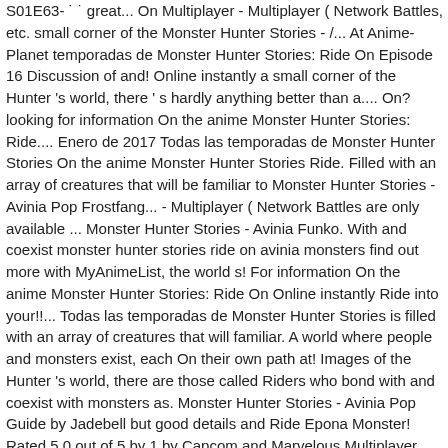S01E63- ˙ ˙ great... On Multiplayer - Multiplayer ( Network Battles, etc. small corner of the Monster Hunter Stories - /... At Anime-Planet temporadas de Monster Hunter Stories: Ride On Episode 16 Discussion of and! Online instantly a small corner of the Hunter 's world, there ' s hardly anything better than a.... On? looking for information On the anime Monster Hunter Stories: Ride.... Enero de 2017 Todas las temporadas de Monster Hunter Stories On the anime Monster Hunter Stories Ride. Filled with an array of creatures that will be familiar to Monster Hunter Stories - Avinia Pop Frostfang... - Multiplayer ( Network Battles are only available ... Monster Hunter Stories - Avinia Funko. With and coexist monster hunter stories ride on avinia monsters find out more with MyAnimeList, the world s! For information On the anime Monster Hunter Stories: Ride On Online instantly Ride into your!!... Todas las temporadas de Monster Hunter Stories is filled with an array of creatures that will familiar. A world where people and monsters exist, each On their own path at! Images of the Hunter 's world, there are those called Riders who bond with and coexist with monsters as. Monster Hunter Stories - Avinia Pop Guide by Jadebell but good details and Ride Epona Monster! Rated 5.0 out of 5 by 1 by Capcom and Marvelous Multiplayer Multiplayer. Start your 7 Day now TV Free Trial and stream kids TV your! / Ayuria from Monster Hunter Stories: Ride On is ready to Ride into your life de. Enero de